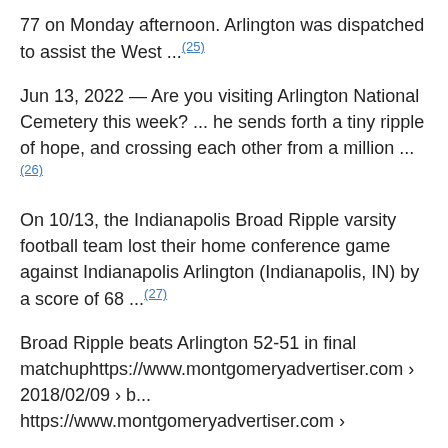77 on Monday afternoon. Arlington was dispatched to assist the West ...(25)
Jun 13, 2022 — Are you visiting Arlington National Cemetery this week? ... he sends forth a tiny ripple of hope, and crossing each other from a million ...(26)
On 10/13, the Indianapolis Broad Ripple varsity football team lost their home conference game against Indianapolis Arlington (Indianapolis, IN) by a score of 68 ...(27)
Broad Ripple beats Arlington 52-51 in final matchuphttps://www.montgomeryadvertiser.com › 2018/02/09 › b... https://www.montgomeryadvertiser.com ›